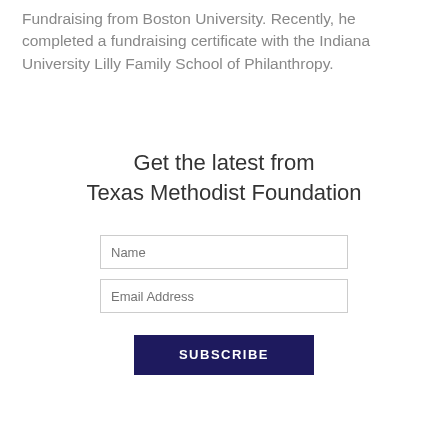Fundraising from Boston University. Recently, he completed a fundraising certificate with the Indiana University Lilly Family School of Philanthropy.
Get the latest from Texas Methodist Foundation
Name
Email Address
SUBSCRIBE